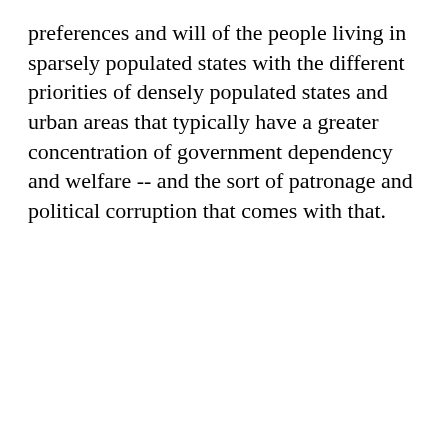preferences and will of the people living in sparsely populated states with the different priorities of densely populated states and urban areas that typically have a greater concentration of government dependency and welfare -- and the sort of patronage and political corruption that comes with that.